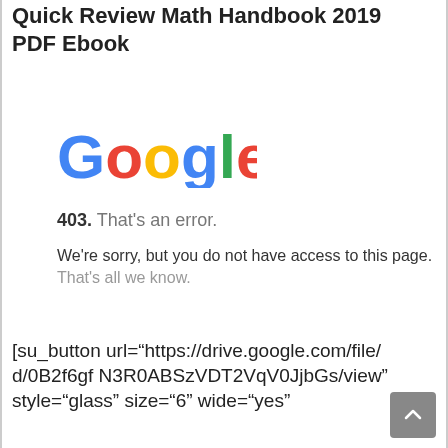Quick Review Math Handbook 2019 PDF Ebook
[Figure (logo): Google logo in standard multicolor lettering]
403. That's an error.
We're sorry, but you do not have access to this page. That's all we know.
[su_button url="https://drive.google.com/file/d/0B2f6gfN3R0ABSzVDT2VqV0JjbGs/view" style="glass" size="6" wide="yes"